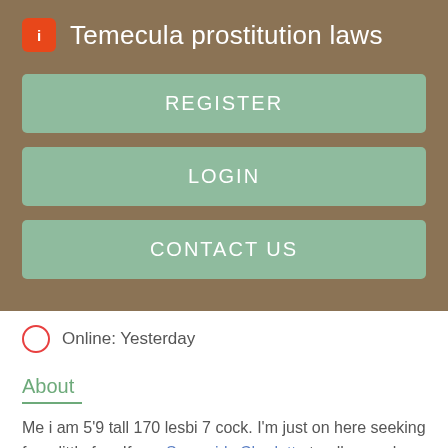Temecula prostitution laws
REGISTER
LOGIN
CONTACT US
Online: Yesterday
About
Me i am 5'9 tall 170 lesbi 7 cock. I'm just on here seeking for a little fun. If you Sexy girls Charlotte truelly a real person and have that girl next door look and feel the...